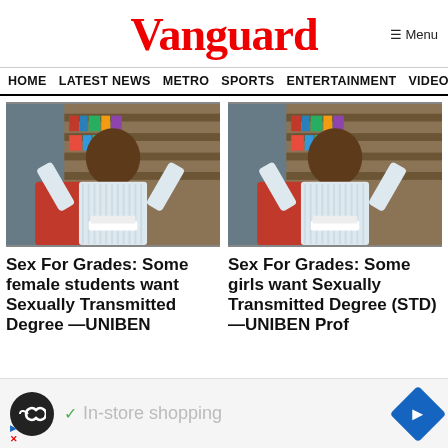Vanguard
HOME  LATEST NEWS  METRO  SPORTS  ENTERTAINMENT  VIDEOS
[Figure (photo): Man sitting in front of bookshelves, wearing a white striped shirt, arms raised]
[Figure (photo): Man sitting in front of bookshelves, wearing a white striped shirt, arms raised]
Sex For Grades: Some female students want Sexually Transmitted Degree —UNIBEN
Sex For Grades: Some girls want Sexually Transmitted Degree (STD) —UNIBEN Prof
[Figure (other): Advertisement bar: circular icon with infinity-like symbol, checkmark with 'In-store shopping' text, blue diamond arrow icon]